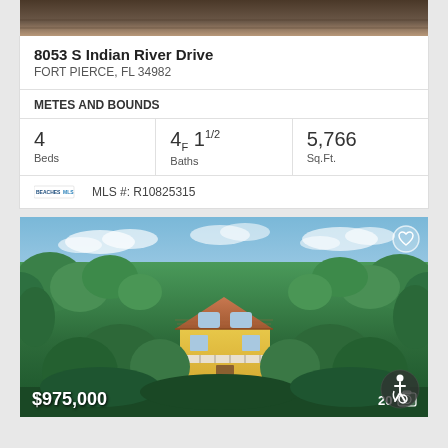[Figure (photo): Partial view of a rooftop or exterior surface, dark tones]
8053 S Indian River Drive
FORT PIERCE, FL 34982
METES AND BOUNDS
| Beds | Baths | Sq.Ft. |
| --- | --- | --- |
| 4 | 4F 11/2 | 5,766 |
MLS #: R10825315
[Figure (photo): Aerial view of a yellow two-story house surrounded by lush tropical vegetation with a terracotta tile roof. Price $975,000 shown in bottom left. Photo count 20 shown in bottom right. Heart icon in top right. Accessibility icon in bottom right.]